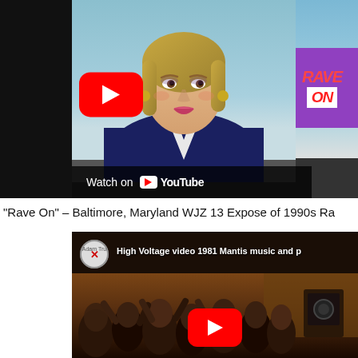[Figure (screenshot): YouTube video thumbnail showing a female news anchor with blonde hair wearing a dark blazer, speaking on camera. A 'RAVE ON' sign is visible in the upper right. A red YouTube play button is centered on the image. A 'Watch on YouTube' bar appears at the bottom left.]
“Rave On” – Baltimore, Maryland WJZ 13 Expose of 1990s Ra
[Figure (screenshot): YouTube video thumbnail showing a crowd of people at what appears to be a concert or music event. The video title reads 'High Voltage video 1981 Mantis music and p'. A channel avatar with a red X overlay is visible in the top left. A red YouTube play button appears at the bottom center.]